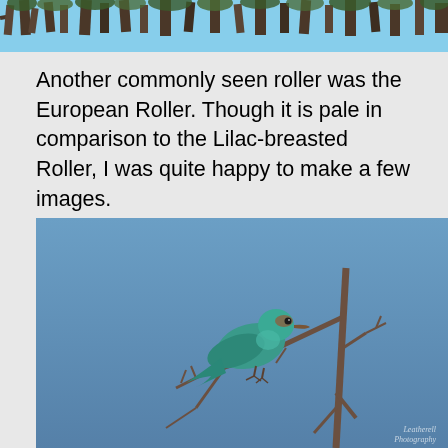[Figure (photo): Top portion of a nature/wildlife photograph showing tree branches against a sky background]
Another commonly seen roller was the European Roller. Though it is pale in comparison to the Lilac-breasted Roller, I was quite happy to make a few images.
[Figure (photo): A European Roller bird perched on bare thorny branches against a clear blue sky. The bird has teal/turquoise plumage. A watermark in the bottom right reads 'Leatherell Photography'.]